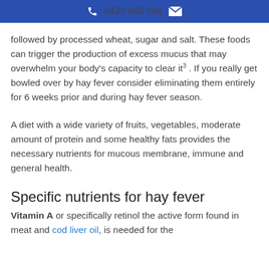0439 660 064
followed by processed wheat, sugar and salt. These foods can trigger the production of excess mucus that may overwhelm your body's capacity to clear it 3 .  If you really get bowled over by hay fever consider eliminating them entirely for 6 weeks prior and during hay fever season.
A diet with a wide variety of fruits, vegetables, moderate amount of protein and some healthy fats provides the necessary nutrients for mucous membrane, immune and general health.
Specific nutrients for hay fever
Vitamin A or specifically retinol the active form found in meat and cod liver oil, is needed for the